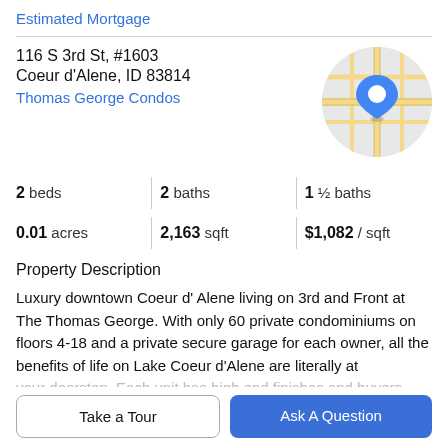Estimated Mortgage
116 S 3rd St, #1603
Coeur d'Alene, ID 83814
Thomas George Condos
[Figure (map): Circular map thumbnail showing street map with blue location pin marker]
| 2 beds | 2 baths | 1 ½ baths |
| 0.01 acres | 2,163 sqft | $1,082 / sqft |
Property Description
Luxury downtown Coeur d' Alene living on 3rd and Front at The Thomas George. With only 60 private condominiums on floors 4-18 and a private secure garage for each owner, all the benefits of life on Lake Coeur d'Alene are literally at your doorstep. Each unit has high end finishes and buyers
Take a Tour
Ask A Question